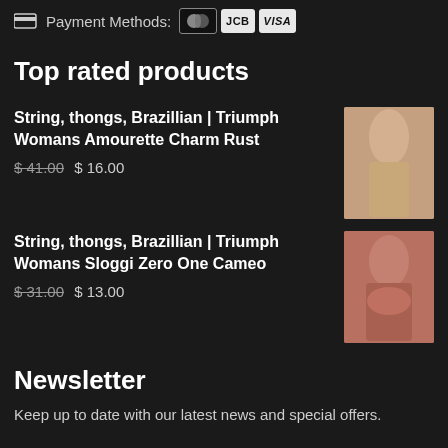Payment Methods: [Mastercard] [JCB] [VISA]
Top rated products
String, thongs, Brazillian | Triumph Womans Amourette Charm Rust
$41.00 $16.00
String, thongs, Brazillian | Triumph Womans Sloggi Zero One Cameo
$31.00 $13.00
Newsletter
Keep up to date with our latest news and special offers.